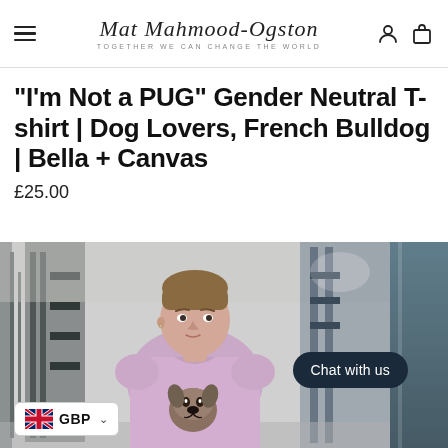Mat Mahmood-Ogston — TOGETHER WE CAN CHANGE THE WORLD
"I'm Not a PUG" Gender Neutral T-shirt | Dog Lovers, French Bulldog | Bella + Canvas
£25.00
[Figure (photo): Product photo of a man wearing a light pink/lavender t-shirt with a French Bulldog print, standing in a gym environment. A 'Chat with us' button overlay appears on the right side, and a GBP currency selector appears bottom-left.]